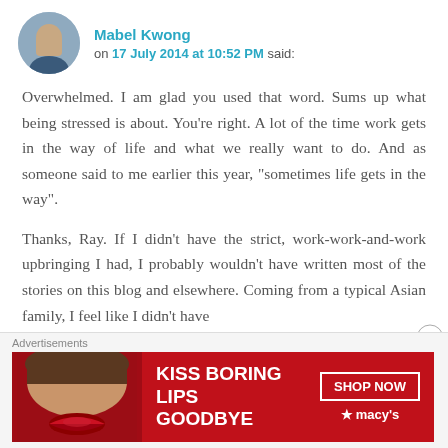Mabel Kwong on 17 July 2014 at 10:52 PM said:
Overwhelmed. I am glad you used that word. Sums up what being stressed is about. You're right. A lot of the time work gets in the way of life and what we really want to do. And as someone said to me earlier this year, “sometimes life gets in the way”.
Thanks, Ray. If I didn’t have the strict, work-work-and-work upbringing I had, I probably wouldn’t have written most of the stories on this blog and elsewhere. Coming from a typical Asian family, I feel like I didn’t have
Advertisements
[Figure (photo): Macy's advertisement banner: KISS BORING LIPS GOODBYE with SHOP NOW button and Macy's logo]